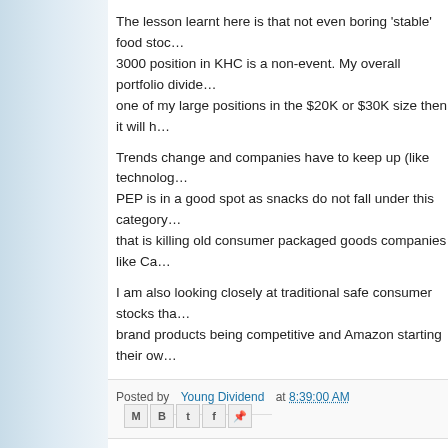The lesson learnt here is that not even boring 'stable' food stoc... 3000 position in KHC is a non-event. My overall portfolio divide... one of my large positions in the $20K or $30K size then it will h...
Trends change and companies have to keep up (like technolog... PEP is in a good spot as snacks do not fall under this category... that is killing old consumer packaged goods companies like Ca...
I am also looking closely at traditional safe consumer stocks tha... brand products being competitive and Amazon starting their ow...
Posted by Young Dividend at 8:39:00 AM
6 comments:
DivRider  February 22, 2019 at 3:30 PM
Thanks for the detailed explanation. How to deal with failure...
Reply
A Dividend Dream  February 22, 2019 at 12:21 AM